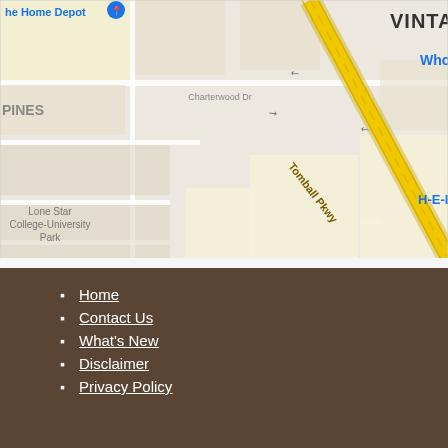[Figure (map): Google Maps screenshot showing area around Vintage Park, Houston TX. Shows Tomball Pkwy diagonal road, H-E-B store with cart icon, Black Walnut Café with orange restaurant icon, Vintage Park label with shopping bag icon, Retreat at Vintage Park, Lone Star College-University Park, Home Depot label at top left, VINTA label at top right, Charterwood Dr, Baytree Dr, Cane Creek Dr street labels.]
Home
Contact Us
What's New
Disclaimer
Privacy Policy